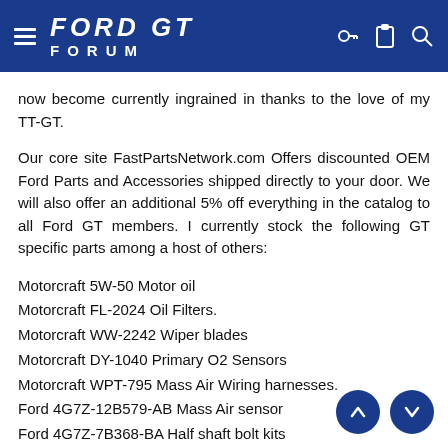Ford GT Forum
now become currently ingrained in thanks to the love of my TT-GT.
Our core site FastPartsNetwork.com Offers discounted OEM Ford Parts and Accessories shipped directly to your door. We will also offer an additional 5% off everything in the catalog to all Ford GT members. I currently stock the following GT specific parts among a host of others:
Motorcraft 5W-50 Motor oil
Motorcraft FL-2024 Oil Filters.
Motorcraft WW-2242 Wiper blades
Motorcraft DY-1040 Primary O2 Sensors
Motorcraft WPT-795 Mass Air Wiring harnesses.
Ford 4G7Z-12B579-AB Mass Air sensor
Ford 4G7Z-7B368-BA Half shaft bolt kits
Ford 4G7Z-16163-AA Belly Pan bolts
If anyone has any direct questions feel free to email me torrie@fastpartsnetwork.com We can get all currently